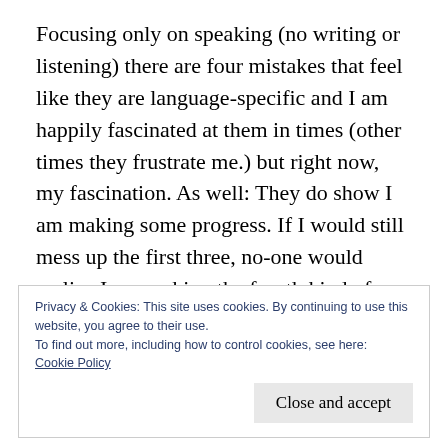Focusing only on speaking (no writing or listening) there are four mistakes that feel like they are language-specific and I am happily fascinated at them in times (other times they frustrate me.) but right now, my fascination. As well: They do show I am making some progress. If I would still mess up the first three, no-one would realize I am making the fourth kind of mistake. (Imagine me nodding with a VERY proud smile on my face)
Privacy & Cookies: This site uses cookies. By continuing to use this website, you agree to their use.
To find out more, including how to control cookies, see here:
Cookie Policy